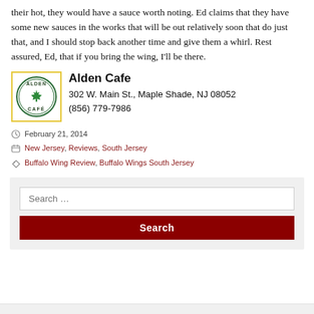their hot, they would have a sauce worth noting. Ed claims that they have some new sauces in the works that will be out relatively soon that do just that, and I should stop back another time and give them a whirl. Rest assured, Ed, that if you bring the wing, I'll be there.
[Figure (logo): Alden Cafe circular logo with maple leaf and text]
Alden Cafe
302 W. Main St., Maple Shade, NJ 08052
(856) 779-7986
February 21, 2014
New Jersey, Reviews, South Jersey
Buffalo Wing Review, Buffalo Wings South Jersey